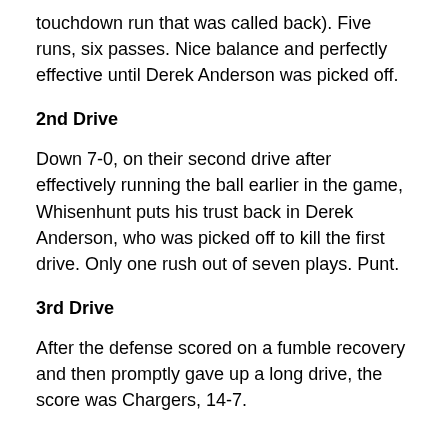touchdown run that was called back). Five runs, six passes. Nice balance and perfectly effective until Derek Anderson was picked off.
2nd Drive
Down 7-0, on their second drive after effectively running the ball earlier in the game, Whisenhunt puts his trust back in Derek Anderson, who was picked off to kill the first drive. Only one rush out of seven plays. Punt.
3rd Drive
After the defense scored on a fumble recovery and then promptly gave up a long drive, the score was Chargers, 14-7.